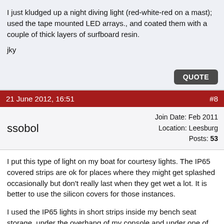I just kludged up a night diving light (red-white-red on a mast); used the tape mounted LED arrays., and coated them with a couple of thick layers of surfboard resin.
jky
21 June 2012, 16:51  #8
ssobol  Join Date: Feb 2011  Location: Leesburg  Posts: 53
I put this type of light on my boat for courtesy lights. The IP65 covered strips are ok for places where they might get splashed occasionally but don't really last when they get wet a lot. It is better to use the silicon covers for those instances.
I used the IP65 lights in short strips inside my bench seat storage, under the overhang of my console and under one of the handles of my battery box (to light the aft drain plug). To light up the engine area I use a strip of lights in the silicon case across the back of the bench